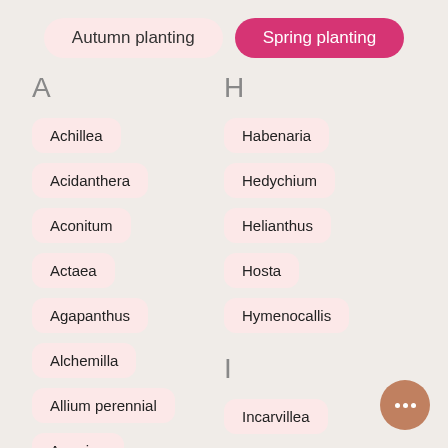Autumn planting
Spring planting
A
Achillea
Acidanthera
Aconitum
Actaea
Agapanthus
Alchemilla
Allium perennial
Amarina
H
Habenaria
Hedychium
Helianthus
Hosta
Hymenocallis
I
Incarvillea